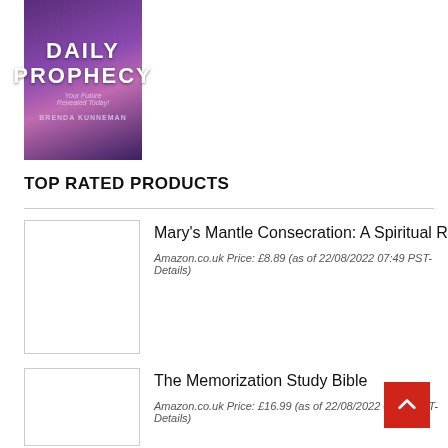[Figure (photo): Book cover: Daily Prophecy by Brenda Kunneman with purple/pink gradient background]
TOP RATED PRODUCTS
[Figure (photo): Product thumbnail image placeholder for Mary's Mantle Consecration]
Mary's Mantle Consecration: A Spiritual Retreat
Amazon.co.uk Price: £8.89 (as of 22/08/2022 07:49 PST- Details)
[Figure (photo): Product thumbnail image placeholder for The Memorization Study Bible]
The Memorization Study Bible
Amazon.co.uk Price: £16.99 (as of 22/08/2022 07:49 PST- Details)